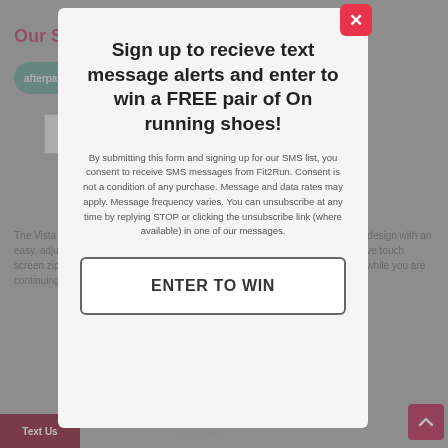Our Stores
afterpay   available for orders between $35 – $1,000 ⓘ
[Figure (screenshot): Background product page with Add to Cart button and quantity selector dimmed behind modal]
Sign up to recieve text message alerts and enter to win a FREE pair of On running shoes!
By submitting this form and signing up for our SMS list, you consent to receive SMS messages from Fit2Run. Consent is not a condition of any purchase. Message and data rates may apply. Message frequency varies. You can unsubscribe at any time by replying STOP or clicking the unsubscribe link (where available) in one of our messages.
ENTER TO WIN
The Vista Hand Held is the ideal running companion for your next run. Grip free design with an easy, adjustable hand strap keeps your phone at your fingertips and the protective touch screen zippered pocket allows you to access your playlist, splits and messages while you are continuing to be your best.
Text Us   Details